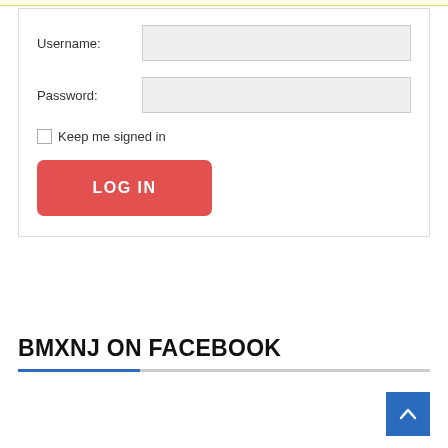[Figure (screenshot): Login form with Username and Password fields, a checkbox for 'Keep me signed in', and a red LOG IN button, on a white box with gray border.]
Username:
Password:
Keep me signed in
LOG IN
BMXNJ ON FACEBOOK